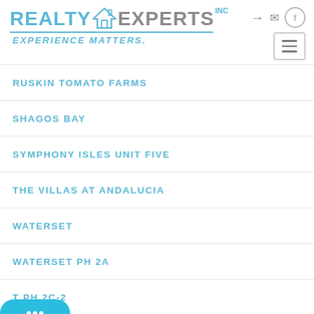[Figure (logo): Realty Experts Inc logo with house icon and tagline EXPERIENCE MATTERS.]
RUSKIN TOMATO FARMS
SHAGOS BAY
SYMPHONY ISLES UNIT FIVE
THE VILLAS AT ANDALUCIA
WATERSET
WATERSET PH 2A
WATERSET PH 2C-2
WATERSET PH 2C1-1-2C1-2